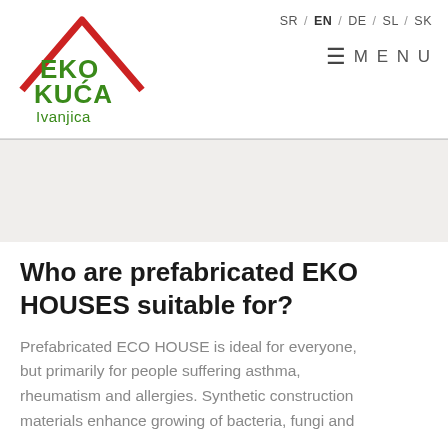[Figure (logo): EKO KUĆA Ivanjica logo with red house outline and green text]
SR / EN / DE / SL / SK   ≡ MENU
Who are prefabricated EKO HOUSES suitable for?
Prefabricated ECO HOUSE is ideal for everyone, but primarily for people suffering asthma, rheumatism and allergies. Synthetic construction materials enhance growing of bacteria, fungi and